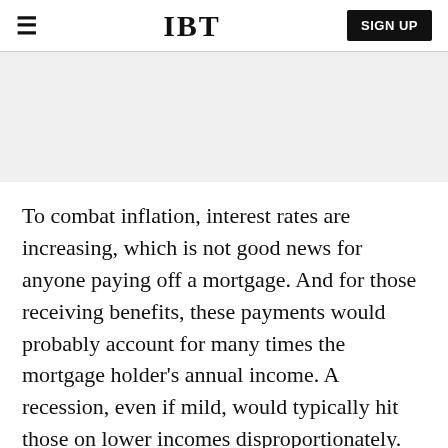IBT  SIGN UP
[Figure (other): Gray advertisement banner placeholder area]
To combat inflation, interest rates are increasing, which is not good news for anyone paying off a mortgage. And for those receiving benefits, these payments would probably account for many times the mortgage holder's annual income. A recession, even if mild, would typically hit those on lower incomes disproportionately.